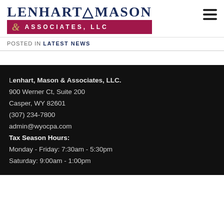[Figure (logo): Lenhart Mason & Associates LLC company logo with dark blue text on top and white text on crimson background banner below]
POSTED IN LATEST NEWS
Lenhart, Mason & Associates, LLC.
900 Werner Ct, Suite 200
Casper, WY 82601
(307) 234-7800
admin@wyocpa.com
Tax Season Hours:
Monday - Friday: 7:30am - 5:30pm
Saturday: 9:00am - 1:00pm